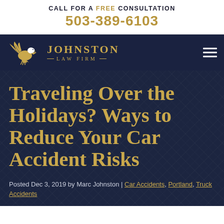CALL FOR A FREE CONSULTATION
503-389-6103
[Figure (logo): Johnston Law Firm logo with eagle and firm name navigation bar]
Traveling Over the Holidays? Ways to Reduce Your Car Accident Risks
Posted Dec 3, 2019 by Marc Johnston | Car Accidents, Portland, Truck Accidents